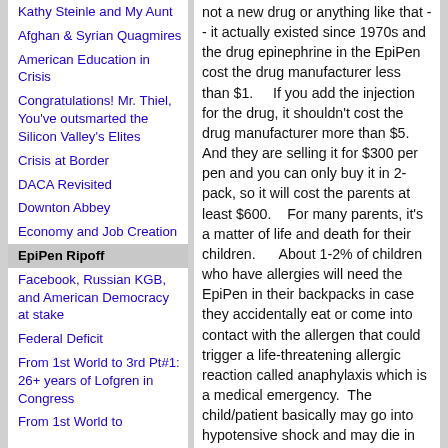Kathy Steinle and My Aunt
Afghan & Syrian Quagmires
American Education in Crisis
Congratulations! Mr. Thiel, You've outsmarted the Silicon Valley's Elites
Crisis at Border
DACA Revisited
Downton Abbey
Economy and Job Creation
EpiPen Ripoff
Facebook, Russian KGB, and American Democracy at stake
Federal Deficit
From 1st World to 3rd Pt#1: 26+ years of Lofgren in Congress
From 1st World to
not a new drug or anything like that -- it actually existed since 1970s and the drug epinephrine in the EpiPen cost the drug manufacturer less than $1.    If you add the injection for the drug, it shouldn't cost the drug manufacturer more than $5.   And they are selling it for $300 per pen and you can only buy it in 2-pack, so it will cost the parents at least $600.    For many parents, it's a matter of life and death for their children.      About 1-2% of children who have allergies will need the EpiPen in their backpacks in case they accidentally eat or come into contact with the allergen that could trigger a life-threatening allergic reaction called anaphylaxis which is a medical emergency.  The child/patient basically may go into hypotensive shock and may die in front of your eye unless the child is injected with a proper dose of epinephrine